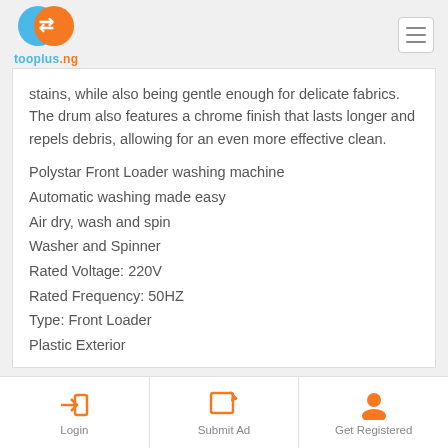tooplus.ng
stains, while also being gentle enough for delicate fabrics. The drum also features a chrome finish that lasts longer and repels debris, allowing for an even more effective clean.
Polystar Front Loader washing machine
Automatic washing made easy
Air dry, wash and spin
Washer and Spinner
Rated Voltage: 220V
Rated Frequency: 50HZ
Type: Front Loader
Plastic Exterior
Login | Submit Ad | Get Registered